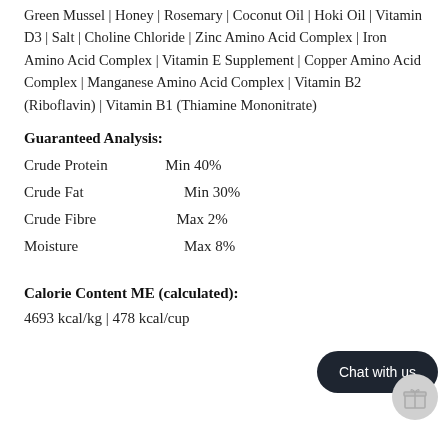Green Mussel | Honey | Rosemary | Coconut Oil | Hoki Oil | Vitamin D3 | Salt | Choline Chloride | Zinc Amino Acid Complex | Iron Amino Acid Complex | Vitamin E Supplement | Copper Amino Acid Complex | Manganese Amino Acid Complex | Vitamin B2 (Riboflavin) | Vitamin B1 (Thiamine Mononitrate)
Guaranteed Analysis:
Crude Protein   Min 40%
Crude Fat        Min 30%
Crude Fibre      Max 2%
Moisture         Max 8%
Calorie Content ME (calculated):
4693 kcal/kg | 478 kcal/cup